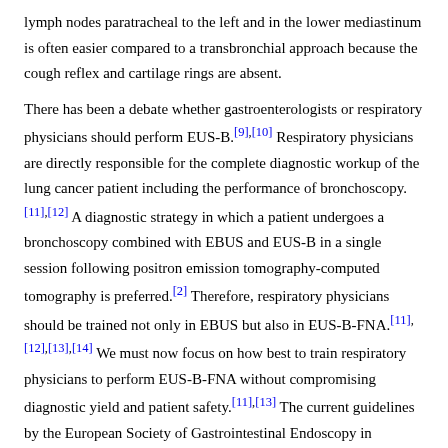lymph nodes paratracheal to the left and in the lower mediastinum is often easier compared to a transbronchial approach because the cough reflex and cartilage rings are absent.
There has been a debate whether gastroenterologists or respiratory physicians should perform EUS-B.[9],[10] Respiratory physicians are directly responsible for the complete diagnostic workup of the lung cancer patient including the performance of bronchoscopy.[11],[12] A diagnostic strategy in which a patient undergoes a bronchoscopy combined with EBUS and EUS-B in a single session following positron emission tomography-computed tomography is preferred.[2] Therefore, respiratory physicians should be trained not only in EBUS but also in EUS-B-FNA.[11],[12],[13],[14] We must now focus on how best to train respiratory physicians to perform EUS-B-FNA without compromising diagnostic yield and patient safety.[11],[13] The current guidelines by the European Society of Gastrointestinal Endoscopy in cooperation with the European Respiratory Society (ERS) underline the need for training in EUS-B-FNA[2] and the importance of developing optimal and efficient educational interventions to ensure that basic competencies are acquired before performing supervised procedures in patients.